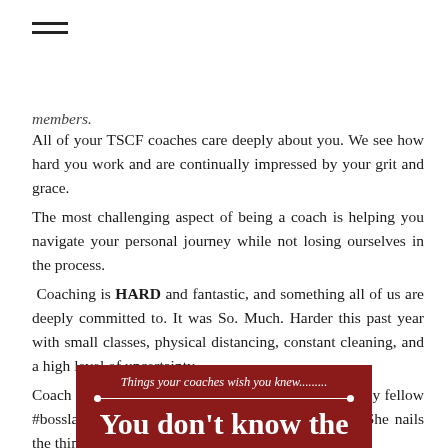[Figure (other): Hamburger menu icon (three horizontal lines)]
members.
All of your TSCF coaches care deeply about you. We see how hard you work and are continually impressed by your grit and grace.
The most challenging aspect of being a coach is helping you navigate your personal journey while not losing ourselves in the process.
Coaching is HARD and fantastic, and something all of us are deeply committed to. It was So. Much. Harder this past year with small classes, physical distancing, constant cleaning, and a high level of uncertainty.
Coach Kendra recently shared this powerful post by my fellow #bosslady at Rocket Community Fitness in Seattle. She nails the things we wish you knew about us.
[Figure (infographic): Dark red banner image with white text reading 'Things your coaches wish you knew........' with a horizontal line with dots, and large white bold text beginning 'You don't know the']